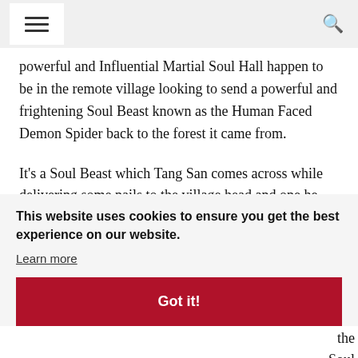☰  🔍
powerful and Influential Martial Soul Hall happen to be in the remote village looking to send a powerful and frightening Soul Beast known as the Human Faced Demon Spider back to the forest it came from.
It’s a Soul Beast which Tang San comes across while delivering some nails to the village head and one he
etty al ticed her the Soul ouch y with
This website uses cookies to ensure you get the best experience on our website.
Learn more
Got it!